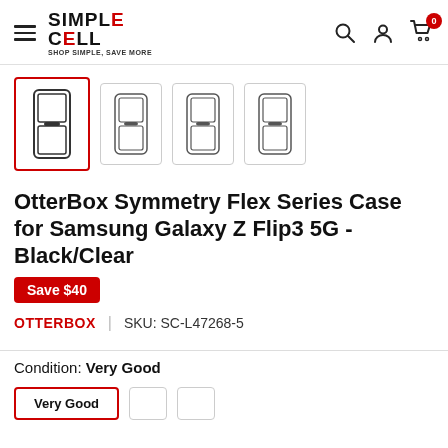Simple Cell — SHOP SIMPLE, SAVE MORE
[Figure (screenshot): Product thumbnail images showing OtterBox Symmetry Flex Series Case for Samsung Galaxy Z Flip3 5G from multiple angles. Four thumbnail images shown side by side; the first is selected with a red border.]
OtterBox Symmetry Flex Series Case for Samsung Galaxy Z Flip3 5G - Black/Clear
Save $40
OTTERBOX | SKU: SC-L47268-5
Condition:  Very Good